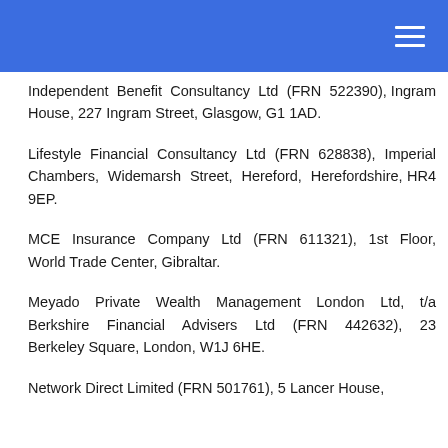Independent Benefit Consultancy Ltd (FRN 522390), Ingram House, 227 Ingram Street, Glasgow, G1 1AD.
Lifestyle Financial Consultancy Ltd (FRN 628838), Imperial Chambers, Widemarsh Street, Hereford, Herefordshire, HR4 9EP.
MCE Insurance Company Ltd (FRN 611321), 1st Floor, World Trade Center, Gibraltar.
Meyado Private Wealth Management London Ltd, t/a Berkshire Financial Advisers Ltd (FRN 442632), 23 Berkeley Square, London, W1J 6HE.
Network Direct Limited (FRN 501761), 5 Lancer House,